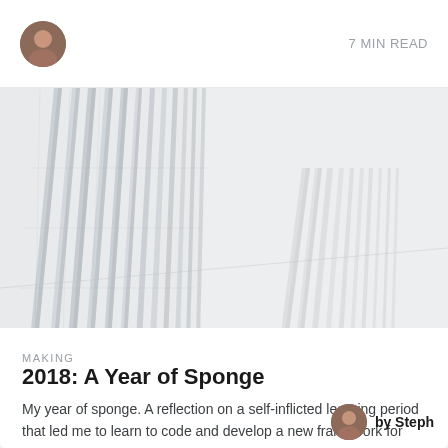7 MIN READ
[Figure (photo): Architectural photo of tall white metallic vertical fins or pillars of a modern building viewed from a low angle against a pale sky]
MAKING
2018: A Year of Sponge
My year of sponge. A reflection on a self-inflicted learning period that led me to learn to code and develop a new framework for sustained progression.
by Steph